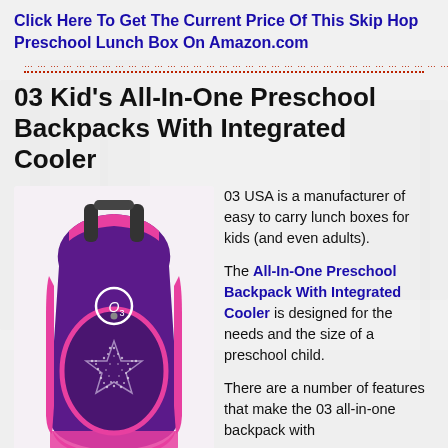Click Here To Get The Current Price Of This Skip Hop Preschool Lunch Box On Amazon.com
03 Kid’s All-In-One Preschool Backpacks With Integrated Cooler
[Figure (photo): A purple and magenta/pink child's backpack with a star rhinestone pattern on the front pocket and the O3 logo, shown against a white background.]
03 USA is a manufacturer of easy to carry lunch boxes for kids (and even adults).

The All-In-One Preschool Backpack With Integrated Cooler is designed for the needs and the size of a preschool child.

There are a number of features that make the 03 all-in-one backpack with